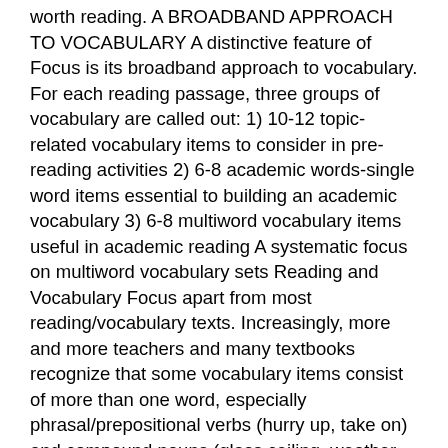worth reading. A BROADBAND APPROACH TO VOCABULARY A distinctive feature of Focus is its broadband approach to vocabulary. For each reading passage, three groups of vocabulary are called out: 1) 10-12 topic-related vocabulary items to consider in pre-reading activities 2) 6-8 academic words-single word items essential to building an academic vocabulary 3) 6-8 multiword vocabulary items useful in academic reading A systematic focus on multiword vocabulary sets Reading and Vocabulary Focus apart from most reading/vocabulary texts. Increasingly, more and more teachers and many textbooks recognize that some vocabulary items consist of more than one word, especially phrasal/prepositional verbs (hurry up, take on) and compound nouns (glass ceiling, weather station). However, the amount of effort and text space devoted to expanding students' multiword repertoires is typically minimal and the approach haphazard. Our thinking in the Reading and Vocabulary Focus series has been influenced by numerous researchers who have examined the great importance to native speakers of conventionalized multi-word units, whether those units are called “chunks,” “strings,” or something